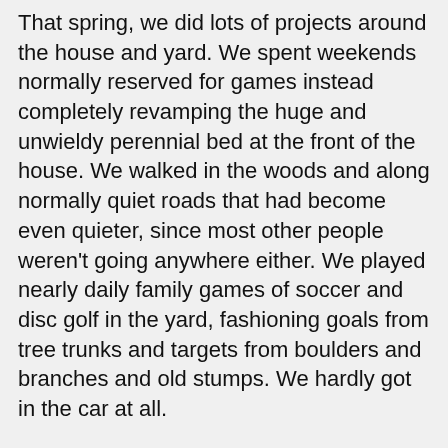That spring, we did lots of projects around the house and yard. We spent weekends normally reserved for games instead completely revamping the huge and unwieldy perennial bed at the front of the house. We walked in the woods and along normally quiet roads that had become even quieter, since most other people weren't going anywhere either. We played nearly daily family games of soccer and disc golf in the yard, fashioning goals from tree trunks and targets from boulders and branches and old stumps. We hardly got in the car at all.
In some ways, it was kind of nice to have all that downtime and so many fewer obligations. But we also longed to get back to teams and sports and friends and competition – with someone beyond immediate family members.
Two years later, we have returned to full-fledged scheduling madness. And I am OK with that. Mostly because I realize it will not last forever.
The other day, I was lamenting to my mom how wild and crazy the family logistics are becoming, with kids going all